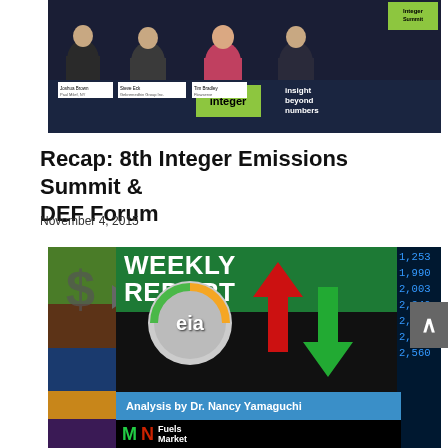[Figure (photo): Panel discussion photo showing four people seated at a table with an Integer Summit banner and 'integer insight beyond numbers' branding. Nameplates visible on the table.]
Recap: 8th Integer Emissions Summit & DEF Forum
November 4, 2015
[Figure (photo): EIA Weekly Report graphic with colorful design, 'WEEKLY REPORT' text, eia logo in a circle, red up arrow and green down arrow, 'Analysis by Dr. Nancy Yamaguchi' blue bar, and Fuels Market logo at bottom. Numbers on right side: 1,253 / 1,990 / 2,003 / 2,340 / 2,390 / 2,670 / 2,560]